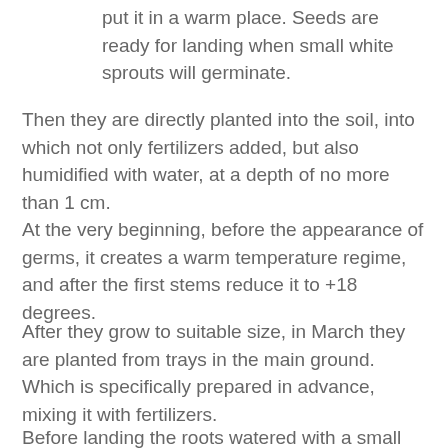put it in a warm place. Seeds are ready for landing when small white sprouts will germinate.
Then they are directly planted into the soil, into which not only fertilizers added, but also humidified with water, at a depth of no more than 1 cm.
At the very beginning, before the appearance of germs, it creates a warm temperature regime, and after the first stems reduce it to +18 degrees.
After they grow to suitable size, in March they are planted from trays in the main ground. Which is specifically prepared in advance, mixing it with fertilizers.
Before landing the roots watered with a small amount of